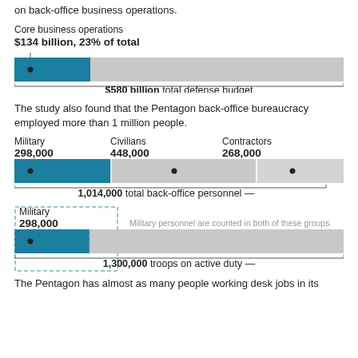on back-office business operations.
Core business operations
$134 billion, 23% of total
[Figure (bar-chart): Horizontal bar showing $134 billion (23%) in blue, remainder in gray, total $580 billion]
The study also found that the Pentagon back-office bureaucracy employed more than 1 million people.
[Figure (stacked-bar-chart): Horizontal stacked bar showing Military 298,000, Civilians 448,000, Contractors 268,000, total 1,014,000]
[Figure (bar-chart): Horizontal bar showing Military 298,000 out of 1,300,000 total active duty troops]
Military personnel are counted in both of these groups.
The Pentagon has almost as many people working desk jobs in its